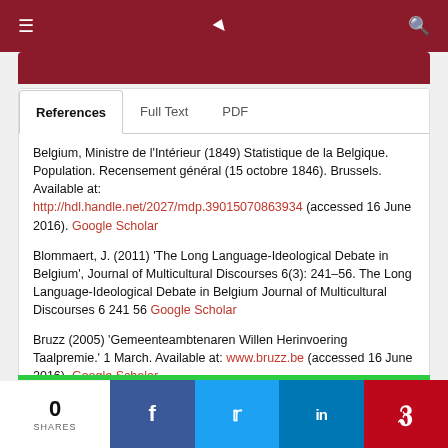Navigation bar with hamburger menu, logo, and search icon
Belgium, Ministre de l'Intérieur (1849) Statistique de la Belgique. Population. Recensement général (15 octobre 1846). Brussels. Available at: http://hdl.handle.net/2027/mdp.39015070863934 (accessed 16 June 2016). Google Scholar
Blommaert, J. (2011) 'The Long Language-Ideological Debate in Belgium', Journal of Multicultural Discourses 6(3): 241–56. The Long Language-Ideological Debate in Belgium Journal of Multicultural Discourses 6 241 56 Google Scholar
Bruzz (2005) 'Gemeenteambtenaren Willen Herinvoering Taalpremie.' 1 March. Available at: www.bruzz.be (accessed 16 June 2016). Google Scholar
0 SHARES | Facebook | Twitter | LinkedIn | Pinterest